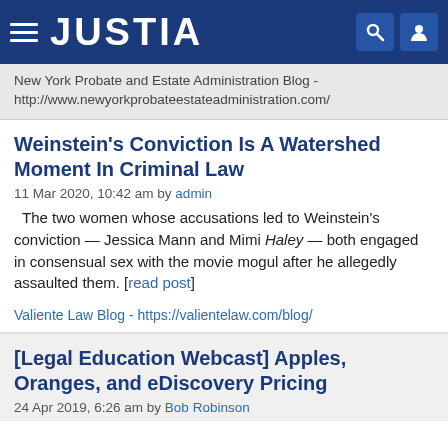JUSTIA
New York Probate and Estate Administration Blog - http://www.newyorkprobateestateadministration.com/
Weinstein's Conviction Is A Watershed Moment In Criminal Law
11 Mar 2020, 10:42 am by admin
The two women whose accusations led to Weinstein's conviction — Jessica Mann and Mimi Haley — both engaged in consensual sex with the movie mogul after he allegedly assaulted them. [read post]
Valiente Law Blog - https://valientelaw.com/blog/
[Legal Education Webcast] Apples, Oranges, and eDiscovery Pricing
24 Apr 2019, 6:26 am by Bob Robinson